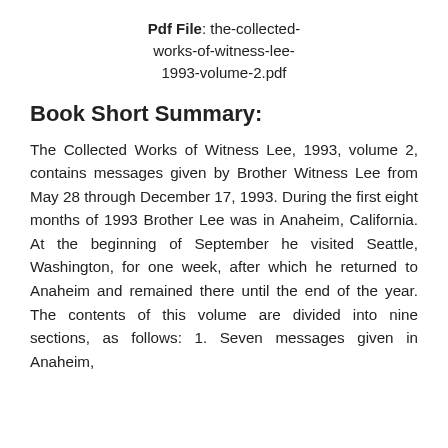Pdf File: the-collected-works-of-witness-lee-1993-volume-2.pdf
Book Short Summary:
The Collected Works of Witness Lee, 1993, volume 2, contains messages given by Brother Witness Lee from May 28 through December 17, 1993. During the first eight months of 1993 Brother Lee was in Anaheim, California. At the beginning of September he visited Seattle, Washington, for one week, after which he returned to Anaheim and remained there until the end of the year. The contents of this volume are divided into nine sections, as follows: 1. Seven messages given in Anaheim,